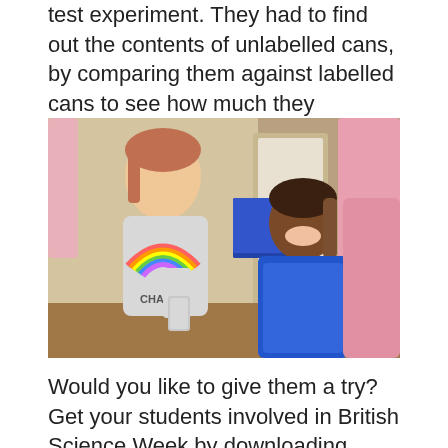test experiment. They had to find out the contents of unlabelled cans, by comparing them against labelled cans to see how much they weighed and how far they rolled.
[Figure (photo): Photo of a young girl wearing a rainbow sweatshirt holding a can, with a smiling woman in a blue top beside her, both seated at a table in a hall setting.]
Would you like to give them a try? Get your students involved in British Science Week by downloading these